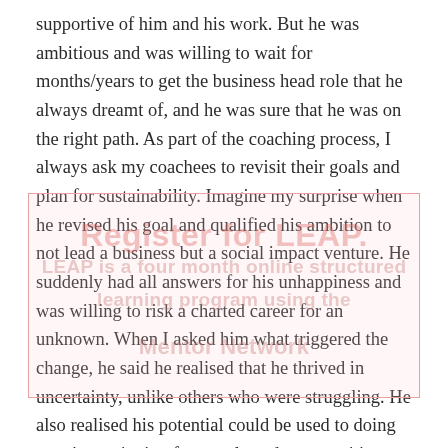supportive of him and his work. But he was ambitious and was willing to wait for months/years to get the business head role that he always dreamt of, and he was sure that he was on the right path. As part of the coaching process, I always ask my coachees to revisit their goals and plan for sustainability. Imagine my surprise when he revised his goal and qualified his ambition to not lead a business but a social impact venture. He suddenly had all answers for his unhappiness and was willing to risk a charted career for an unknown. When I asked him what triggered the change, he said he realised that he thrived in uncertainty, unlike others who were struggling. He also realised his potential could be used to doing creative actioning for people and communities that he cared, and that gave him happiness and purpose. Hi... th ... h ... d ...